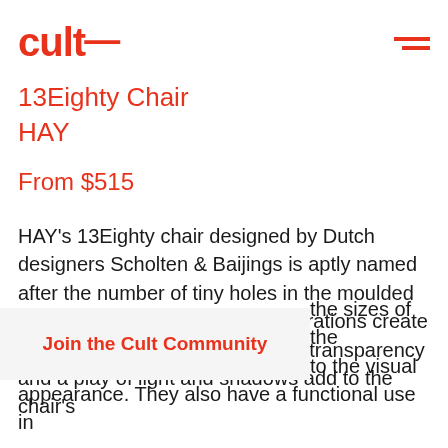CULT — (logo) with hamburger menu
13Eighty Chair
HAY
From $515
HAY's 13Eighty chair designed by Dutch designers Scholten & Baijings is aptly named after the number of tiny holes in the moulded polypropylene shell. These perforations create a characteristic aesthetic, where transparency and a play of light and shadows add to the chair's [the sizes of the] [to the visual] appearance. They also have a functional use in [continues]
Join the Cult Community